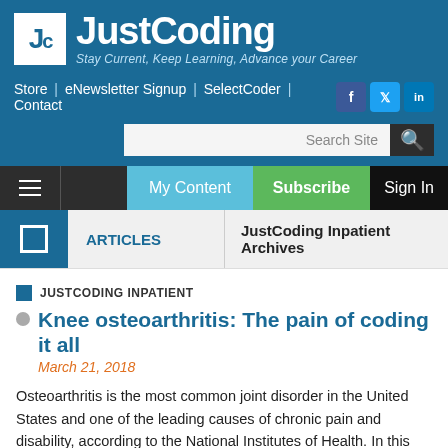[Figure (logo): JustCoding logo with tagline 'Stay Current, Keep Learning, Advance your Career']
Store | eNewsletter Signup | SelectCoder | Contact
Search Site
My Content | Subscribe | Sign In
ARTICLES   JustCoding Inpatient Archives
JUSTCODING INPATIENT
Knee osteoarthritis: The pain of coding it all
March 21, 2018
Osteoarthritis is the most common joint disorder in the United States and one of the leading causes of chronic pain and disability, according to the National Institutes of Health. In this article, Shannon McCall, RHIA, CCS, CCS-P, CPC, CEMC, CRC, CCDS, examines ICD-10-CM/PCS coding and